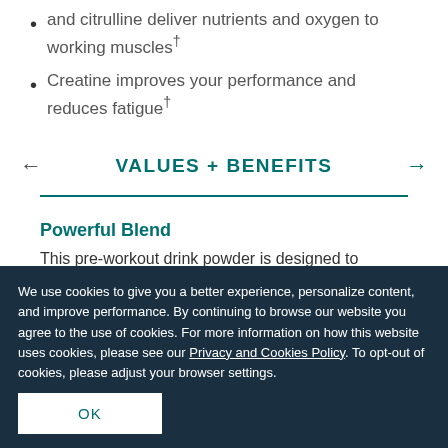Nitrosigine® and citrulline deliver nutrients and oxygen to working muscles†
Creatine improves your performance and reduces fatigue†
VALUES + BENEFITS
Powerful Blend
This pre-workout drink powder is designed to
We use cookies to give you a better experience, personalize content, and improve performance. By continuing to browse our website you agree to the use of cookies. For more information on how this website uses cookies, please see our Privacy and Cookies Policy. To opt-out of cookies, please adjust your browser settings.